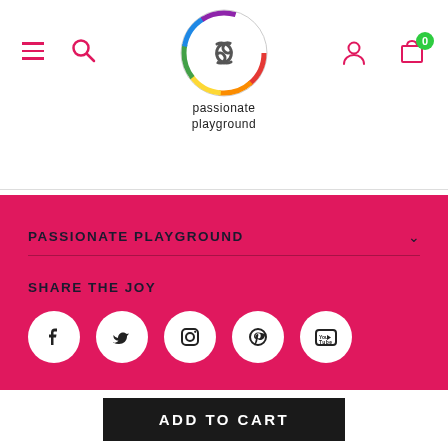[Figure (logo): Passionate Playground logo with rainbow circular interlocking design and brand name text below]
PASSIONATE PLAYGROUND
SHARE THE JOY
[Figure (infographic): Social media icons: Facebook, Twitter, Instagram, Pinterest, YouTube]
ADD TO CART